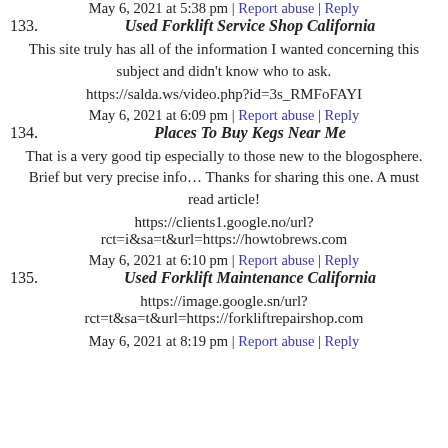133. Used Forklift Service Shop California
May 6, 2021 at 5:38 pm | Report abuse | Reply
This site truly has all of the information I wanted concerning this subject and didn't know who to ask.
https://salda.ws/video.php?id=3s_RMFoFAYI
134. Places To Buy Kegs Near Me
May 6, 2021 at 6:09 pm | Report abuse | Reply
That is a very good tip especially to those new to the blogosphere. Brief but very precise info… Thanks for sharing this one. A must read article!
https://clients1.google.no/url?rct=i&sa=t&url=https://howtobrews.com
135. Used Forklift Maintenance California
May 6, 2021 at 6:10 pm | Report abuse | Reply
https://image.google.sn/url?rct=t&sa=t&url=https://forkliftrepairshop.com
May 6, 2021 at 8:19 pm | Report abuse | Reply